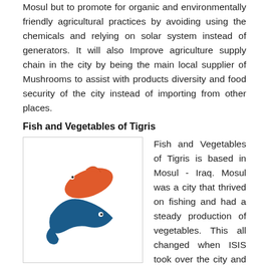Mosul but to promote for organic and environmentally friendly agricultural practices by avoiding using the chemicals and relying on solar system instead of generators. It will also Improve agriculture supply chain in the city by being the main local supplier of Mushrooms to assist with products diversity and food security of the city instead of importing from other places.
Fish and Vegetables of Tigris
[Figure (logo): Logo of Fish and Vegetables of Tigris: an orange fish and a blue fish/wave forming a circular shape]
Fish and Vegetables of Tigris is based in Mosul - Iraq. Mosul was a city that thrived on fishing and had a steady production of vegetables. This all changed when ISIS took over the city and when war was launched to remove ISIS from the city. The project is to recycle water, use the fish organic waste as a natural fertilizer that would support the production of vegetables. The